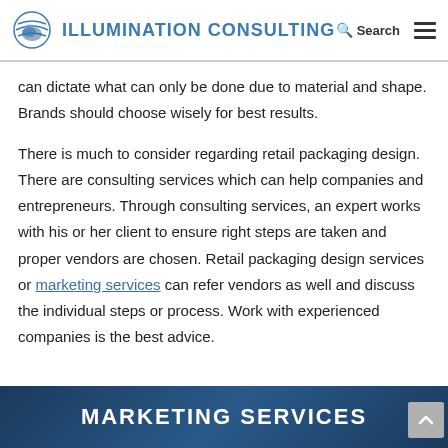Illumination Consulting | Search
can dictate what can only be done due to material and shape. Brands should choose wisely for best results.
There is much to consider regarding retail packaging design. There are consulting services which can help companies and entrepreneurs. Through consulting services, an expert works with his or her client to ensure right steps are taken and proper vendors are chosen. Retail packaging design services or marketing services can refer vendors as well and discuss the individual steps or process. Work with experienced companies is the best advice.
[Figure (infographic): Dark blue banner with bold white text reading MARKETING SERVICES]